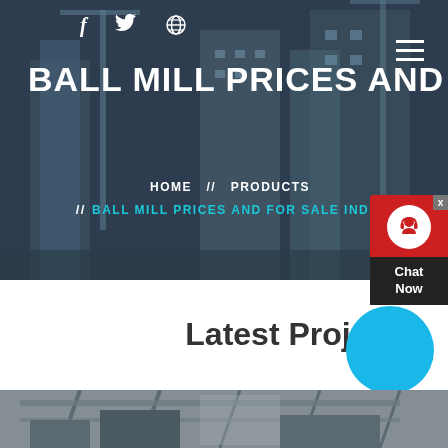[Figure (photo): Hero banner with dark overlay showing construction site with cranes and buildings in background]
BALL MILL PRICES AND FOR SA
HOME // PRODUCTS // BALL MILL PRICES AND FOR SALE INDIA
[Figure (infographic): Red chat widget with headset icon and Chat Now label on dark bottom bar with X close button]
Latest Projects
[Figure (photo): Industrial site image visible at bottom of page]